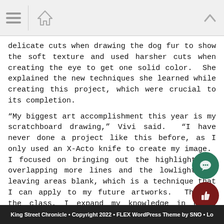[Navigation bar with hamburger menu, home icon, and up arrow]
delicate cuts when drawing the dog fur to show the soft texture and used harsher cuts when creating the eye to get one solid color.  She explained the new techniques she learned while creating this project, which were crucial to its completion.
“My biggest art accomplishment this year is my scratchboard drawing,” Vivi said.  “I have never done a project like this before, as I only used an X-Acto knife to create my image.  I focused on bringing out the highlights by overlapping more lines and the lowlights by leaving areas blank, which is a technique that I can apply to my future artworks.  Through the class, I expand my knowledge in other areas of art that I never even knew existed or that I haven’t tried before, which is very interesting to me.”
Featured Image by Caterina Pye ’23
King Street Chronicle • Copyright 2022 • FLEX WordPress Theme by SNO • Lo...